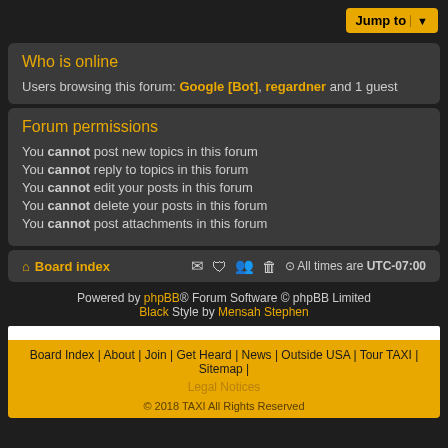Jump to
Who is online
Users browsing this forum: Google [Bot], regardner and 1 guest
Forum permissions
You cannot post new topics in this forum
You cannot reply to topics in this forum
You cannot edit your posts in this forum
You cannot delete your posts in this forum
You cannot post attachments in this forum
Board index | All times are UTC-07:00
Powered by phpBB® Forum Software © phpBB Limited
Black Style by Mensah Stephen
Board Index | About | Join | Get Heard | News | Outside USA | Tour TAXI | Sitemap | Legal Notices
© 2018 TAXI All Rights Reserved